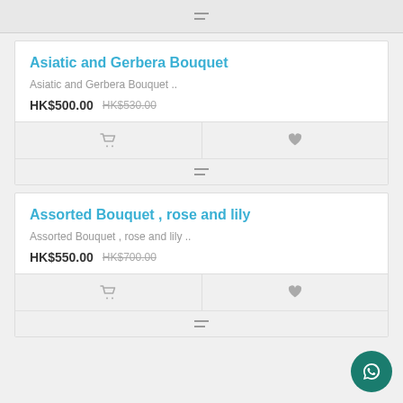Asiatic and Gerbera Bouquet
Asiatic and Gerbera Bouquet ..
HK$500.00  HK$530.00
Assorted Bouquet , rose and lily
Assorted Bouquet , rose and lily ..
HK$550.00  HK$700.00